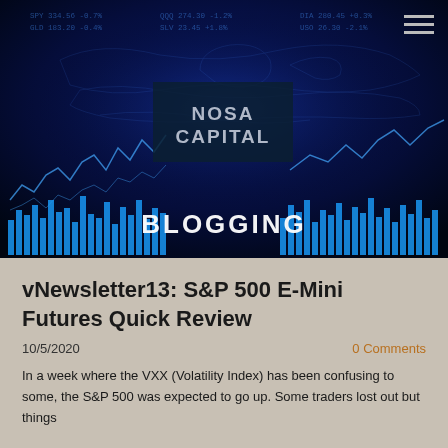[Figure (photo): Dark blue financial market background with stock chart overlays, world map, bar charts, and candlestick patterns. Center shows NOSA CAPITAL logo box. Bottom center shows BLOGGING text. Top right shows hamburger menu icon.]
vNewsletter13: S&P 500 E-Mini Futures Quick Review
10/5/2020
0 Comments
In a week where the VXX (Volatility Index) has been confusing to some, the S&P 500 was expected to go up. Some traders lost out but things